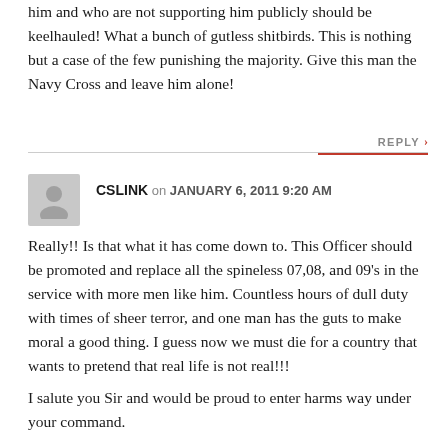him and who are not supporting him publicly should be keelhauled! What a bunch of gutless shitbirds. This is nothing but a case of the few punishing the majority. Give this man the Navy Cross and leave him alone!
REPLY
CSLINK on JANUARY 6, 2011 9:20 AM
Really!! Is that what it has come down to. This Officer should be promoted and replace all the spineless 07,08, and 09's in the service with more men like him. Countless hours of dull duty with times of sheer terror, and one man has the guts to make moral a good thing. I guess now we must die for a country that wants to pretend that real life is not real!!!
I salute you Sir and would be proud to enter harms way under your command.